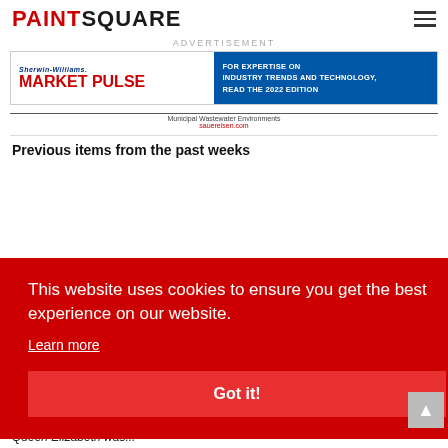PAINTSQUARE
ADVERTISEMENT
[Figure (other): Sherwin-Williams Market Pulse advertisement banner. Left side white background with red 'MARKET PULSE' text and 'Sherwin-Williams.' logo. Right side blue background with white text: 'FOR EXPERTISE ON INDUSTRY TRENDS AND TECHNOLOGY, READ THE 2022 EDITION']
Municipal Wastewater Environments
sauereisen.com
Previous items from the past weeks
This website uses cookies to ensure you get the best experience on our website.
Learn more
Got it!
Queen Elizabeth was...